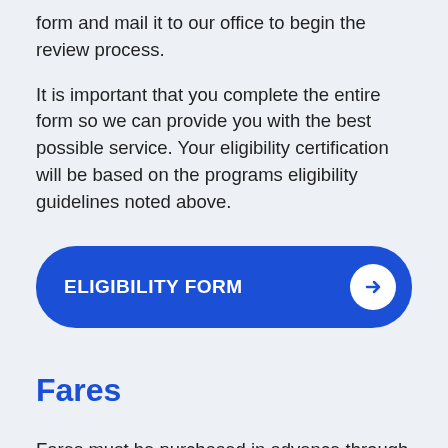form and mail it to our office to begin the review process.
It is important that you complete the entire form so we can provide you with the best possible service. Your eligibility certification will be based on the programs eligibility guidelines noted above.
[Figure (other): Blue rounded button with white bold text 'ELIGIBILITY FORM' and a white circle arrow icon on the right]
Fares
Fares must be purchased in advance through the